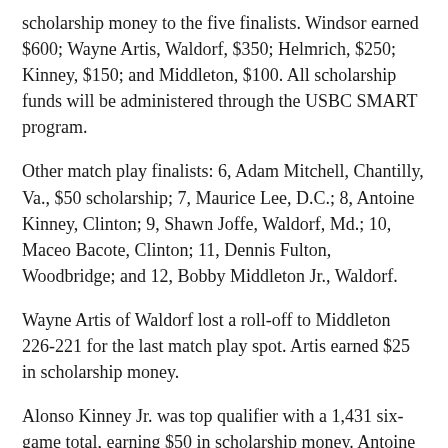scholarship money to the five finalists. Windsor earned $600; Wayne Artis, Waldorf, $350; Helmrich, $250; Kinney, $150; and Middleton, $100. All scholarship funds will be administered through the USBC SMART program.
Other match play finalists: 6, Adam Mitchell, Chantilly, Va., $50 scholarship; 7, Maurice Lee, D.C.; 8, Antoine Kinney, Clinton; 9, Shawn Joffe, Waldorf, Md.; 10, Maceo Bacote, Clinton; 11, Dennis Fulton, Woodbridge; and 12, Bobby Middleton Jr., Waldorf.
Wayne Artis of Waldorf lost a roll-off to Middleton 226-221 for the last match play spot. Artis earned $25 in scholarship money.
Alonso Kinney Jr. was top qualifier with a 1,431 six-game total, earning $50 in scholarship money. Antoine Kinney had the high game in qualifying with a 269, earning $25 in scholarship money.
High games in qualifying: